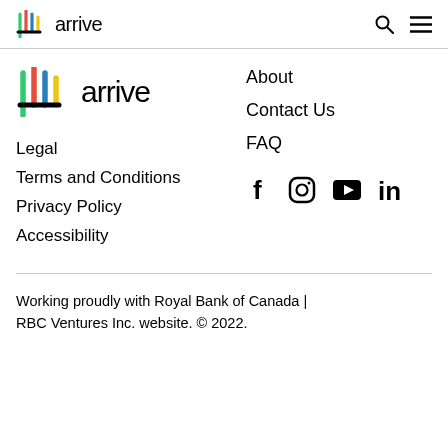arrive [logo] [search icon] [menu icon]
[Figure (logo): Arrive logo with colorful leaf/feather icon and text 'arrive']
About
Contact Us
FAQ
Legal
Terms and Conditions
Privacy Policy
Accessibility
[Figure (infographic): Social media icons: Facebook, Instagram, YouTube, LinkedIn]
Working proudly with Royal Bank of Canada | RBC Ventures Inc. website. © 2022.